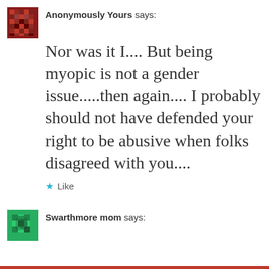Anonymously Yours says:
Nor was it I.... But being myopic is not a gender issue.....then again.... I probably should not have defended your right to be abusive when folks disagreed with you....
Like
Swarthmore mom says: